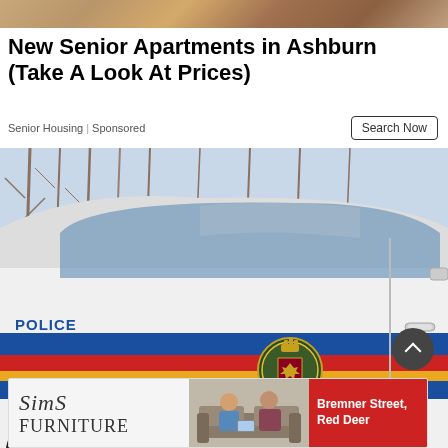[Figure (photo): Top banner advertisement image showing wooden/construction background]
New Senior Apartments in Ashburn (Take A Look At Prices)
Senior Housing | Sponsored
Search Now
[Figure (photo): RCMP police vehicle showing side panel with RCMP GRC logo, badge, and blue/red/yellow stripes. Trees visible in background.]
[Figure (photo): Sims Furniture advertisement showing logo, two people on couch, and text: Bremner Street, Red Deer]